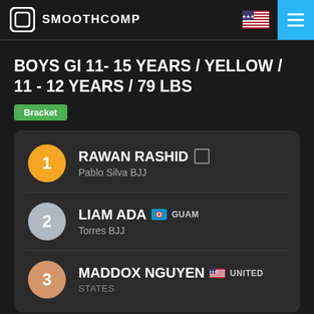SMOOTHCOMP
BOYS GI 11- 15 YEARS / YELLOW / 11 - 12 YEARS / 79 LBS
Bracket
1 RAWAN RASHID - Pablo Silva BJJ
2 LIAM ADA GUAM - Torres BJJ
3 MADDOX NGUYEN UNITED STATES